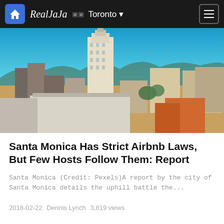RealJaJa ☐☐ Toronto
[Figure (photo): Aerial view of Santa Monica cityscape with Art Deco tower building in center, blue sky, urban buildings spread across the frame]
Santa Monica Has Strict Airbnb Laws, But Few Hosts Follow Them: Report
Santa Monica (Credit: Pexels)A report by the city of Santa Monica details the uphill battle the…
2018-02-22  Dennis Lynch  3,819 views